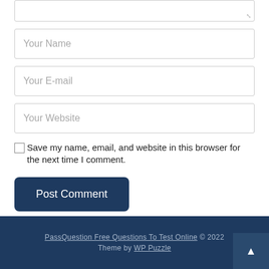[Figure (screenshot): Partial textarea input field at the top of the page with resize handle]
Your Name
Your E-mail
Your Website
Save my name, email, and website in this browser for the next time I comment.
Post Comment
PassQuestion Free Questions To Test Online © 2022 Theme by WP Puzzle